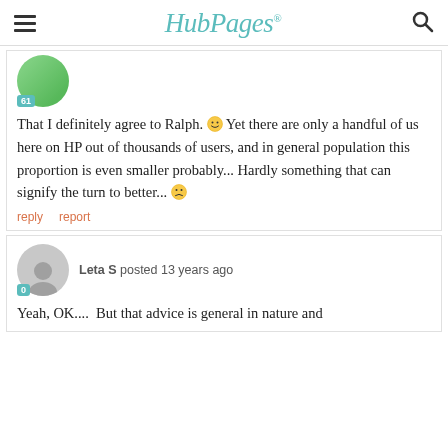HubPages
That I definitely agree to Ralph. 🙂 Yet there are only a handful of us here on HP out of thousands of users, and in general population this proportion is even smaller probably... Hardly something that can signify the turn to better... 😕
reply   report
Leta S posted 13 years ago
Yeah, OK....  But that advice is general in nature and